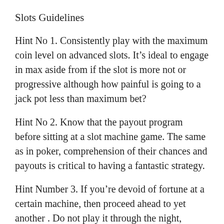Slots Guidelines
Hint No 1. Consistently play with the maximum coin level on advanced slots. It’s ideal to engage in max aside from if the slot is more not or progressive although how painful is going to a jack pot less than maximum bet?
Hint No 2. Know that the payout program before sitting at a slot machine game. The same as in poker, comprehension of their chances and payouts is critical to having a fantastic strategy.
Hint Number 3. If you’re devoid of fortune at a certain machine, then proceed ahead to yet another . Do not play it through the night, dreaming about this to pay off.
Hint No 4. Constantly ensure that the bet enrolls in the